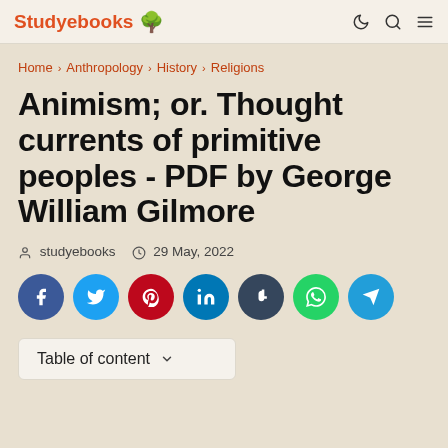Studyebooks 🌳
Home > Anthropology > History > Religions
Animism; or. Thought currents of primitive peoples - PDF by George William Gilmore
studyebooks  29 May, 2022
[Figure (infographic): Social sharing buttons: Facebook, Twitter, Pinterest, LinkedIn, Tumblr, WhatsApp, Telegram]
Table of content